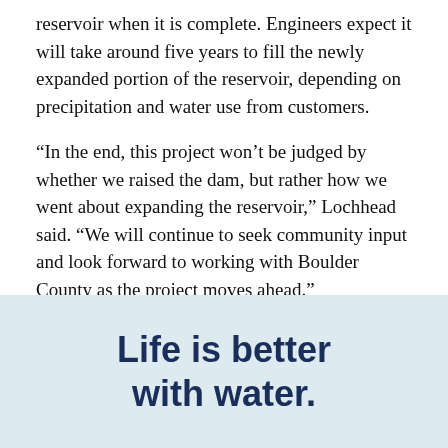reservoir when it is complete. Engineers expect it will take around five years to fill the newly expanded portion of the reservoir, depending on precipitation and water use from customers.
“In the end, this project won’t be judged by whether we raised the dam, but rather how we went about expanding the reservoir,” Lochhead said. “We will continue to seek community input and look forward to working with Boulder County as the project moves ahead.”
Life is better with water.